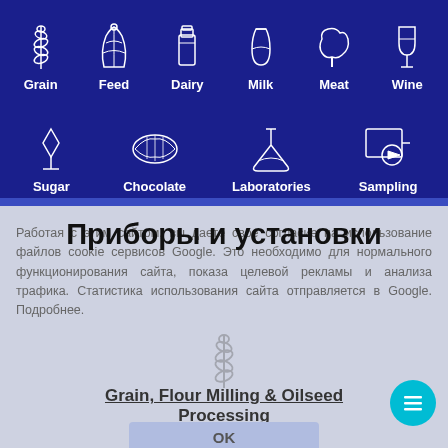[Figure (infographic): Dark blue navigation bar with food/agriculture category icons and labels: Grain, Feed, Dairy, Milk, Meat, Wine (row 1); Sugar, Chocolate, Laboratories, Sampling (row 2)]
Приборы и установки
Работая с этим сайтом, вы даете свое согласие на использование файлов cookie сервисов Google. Это необходимо для нормального функционирования сайта, показа целевой рекламы и анализа трафика. Статистика использования сайта отправляется в Google. Подробнее.
Grain, Flour Milling & Oilseed Processing
OK